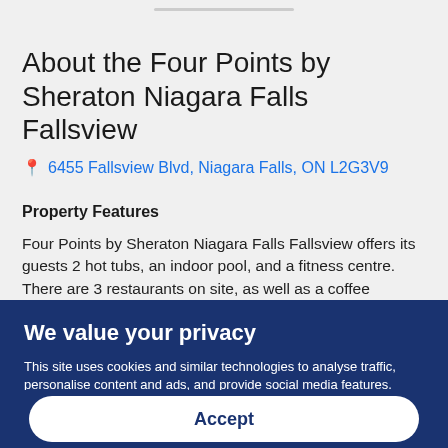About the Four Points by Sheraton Niagara Falls Fallsview
6455 Fallsview Blvd, Niagara Falls, ON L2G3V9
Property Features
Four Points by Sheraton Niagara Falls Fallsview offers its guests 2 hot tubs, an indoor pool, and a fitness centre. There are 3 restaurants on site, as well as a coffee shop/cafΘ and a nearby corner/local shop. You can unwind with a drink at one of the 2 bars/lounges. A computer station is on site and WiFi is free in public spaces. There's an onsite 24-hour business
We value your privacy
This site uses cookies and similar technologies to analyse traffic, personalise content and ads, and provide social media features. Learn more and adjust settings.
Accept